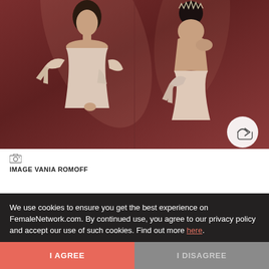[Figure (photo): Two female models wearing blush/ivory strapless gowns with off-shoulder bow details against a dark mauve/wine backdrop. Left model faces forward with short dark hair; right model faces away showing the back of the gown and wearing a tiara.]
[Figure (other): Camera/photo icon]
IMAGE VANIA ROMOFF
We use cookies to ensure you get the best experience on FemaleNetwork.com. By continued use, you agree to our privacy policy and accept our use of such cookies. Find out more here.
I AGREE
I DISAGREE